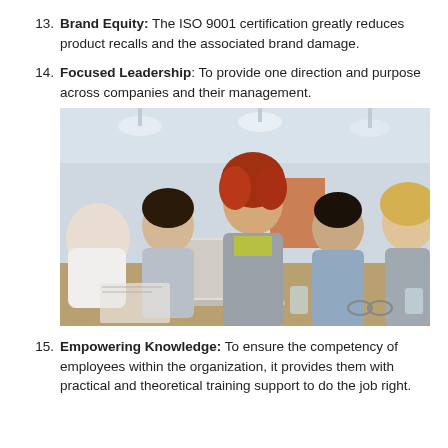13. Brand Equity: The ISO 9001 certification greatly reduces product recalls and the associated brand damage.
14. Focused Leadership: To provide one direction and purpose across companies and their management.
[Figure (photo): A business meeting scene with five professionals around a table with a laptop. A woman with red/auburn curly hair stands in the center, while four seated colleagues engage in discussion.]
15. Empowering Knowledge: To ensure the competency of employees within the organization, it provides them with practical and theoretical training support to do the job right.